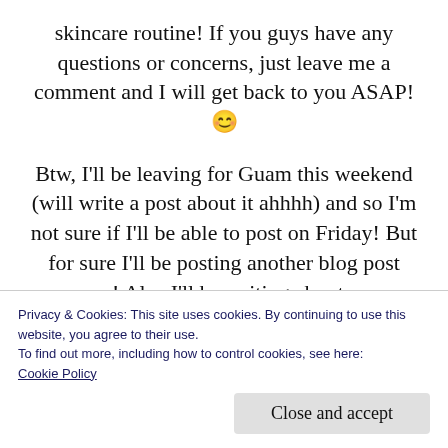skincare routine! If you guys have any questions or concerns, just leave me a comment and I will get back to you ASAP! 😊
Btw, I'll be leaving for Guam this weekend (will write a post about it ahhhh) and so I'm not sure if I'll be able to post on Friday! But for sure I'll be posting another blog post soon! Also I'll be writing about my SKINCARE AND MAKEUP HAUL!!! Ahhhh I recently bought so many products and so I'm so excited to show you
Privacy & Cookies: This site uses cookies. By continuing to use this website, you agree to their use.
To find out more, including how to control cookies, see here:
Cookie Policy